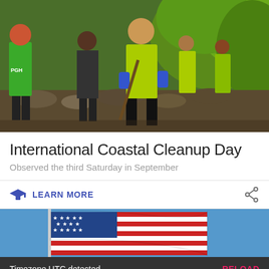[Figure (photo): Volunteers in bright green 'PGH' vests and yellow shirts doing a coastal/river cleanup, picking up trash along a rocky waterway with green vegetation in the background.]
International Coastal Cleanup Day
Observed the third Saturday in September
LEARN MORE
[Figure (photo): Partial view of an American flag waving against a blue sky.]
Timezone UTC detected.
RELOAD